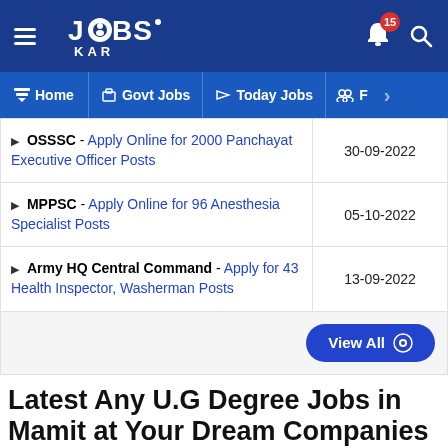JOBS KAR — Home | Govt Jobs | Today Jobs | F
| Job Listing | Date |
| --- | --- |
| OSSSC - Apply Online for 2000 Panchayat Executive Officer Posts | 30-09-2022 |
| MPPSC - Apply Online for 96 Anesthesia Specialist Posts | 05-10-2022 |
| Army HQ Central Command - Apply for 43 Health Inspector, Washerman Posts | 13-09-2022 |
Latest Any U.G Degree Jobs in Mamit at Your Dream Companies
Are you looking for Any U.G Degree related jobs in Mamit you are at the right place. Candidates can get the latest Any U.G